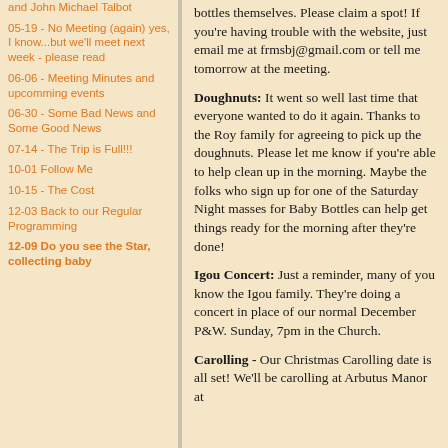and John Michael Talbot
05-19 - No Meeting (again) yes, I know...but we'll meet next week - please read
06-06 - Meeting Minutes and upcomming events
06-30 - Some Bad News and Some Good News
07-14 - The Trip is Full!!!
10-01 Follow Me
10-15 - The Cost
12-03 Back to our Regular Programming
12-09 Do you see the Star, collecting baby
bottles themselves.  Please claim a spot!  If you're having trouble with the website, just email me at frmsbj@gmail.com or tell me tomorrow at the meeting.
Doughnuts: It went so well last time that everyone wanted to do it again.  Thanks to the Roy family for agreeing to pick up the doughnuts.  Please let me know if you're able to help clean up in the morning.  Maybe the folks who sign up for one of the Saturday Night masses for Baby Bottles can help get things ready for the morning after they're done!
Igou Concert:  Just a reminder, many of you know the Igou family.  They're doing a concert in place of our normal December P&W.  Sunday, 7pm in the Church.
Carolling - Our Christmas Carolling date is all set!  We'll be carolling at Arbutus Manor at 1:00 - 2:00pm on Sunday D...